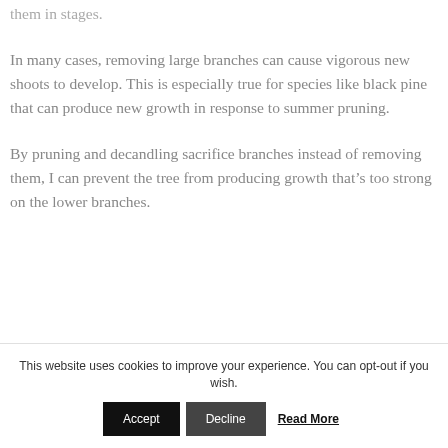them in stages.
In many cases, removing large branches can cause vigorous new shoots to develop. This is especially true for species like black pine that can produce new growth in response to summer pruning.
By pruning and decandling sacrifice branches instead of removing them, I can prevent the tree from producing growth that's too strong on the lower branches.
This website uses cookies to improve your experience. You can opt-out if you wish. Accept  Decline  Read More